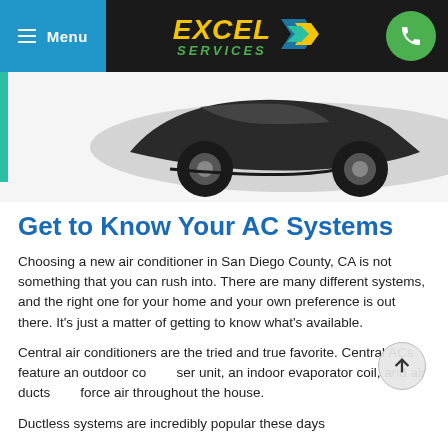Menu | EXCEL SERVICES
[Figure (photo): Partial view of a dark SUV/car from below, white background, with a teal vertical bar on the left side]
Get to Know Your AC Systems
Choosing a new air conditioner in San Diego County, CA is not something that you can rush into. There are many different systems, and the right one for your home and your own preference is out there. It's just a matter of getting to know what's available.
Central air conditioners are the tried and true favorite. Central ACs feature an outdoor condenser unit, an indoor evaporator coil, and air ducts that force air throughout the house.
Ductless systems are incredibly popular these days